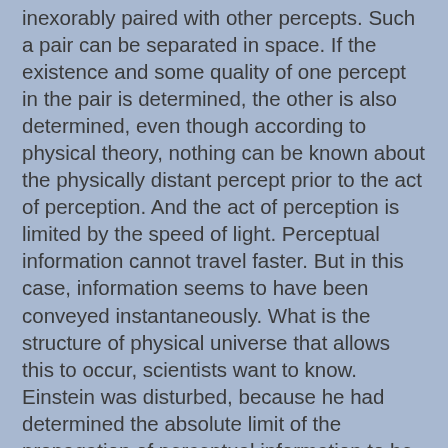inexorably paired with other percepts. Such a pair can be separated in space. If the existence and some quality of one percept in the pair is determined, the other is also determined, even though according to physical theory, nothing can be known about the physically distant percept prior to the act of perception. And the act of perception is limited by the speed of light. Perceptual information cannot travel faster. But in this case, information seems to have been conveyed instantaneously. What is the structure of physical universe that allows this to occur, scientists want to know. Einstein was disturbed, because he had determined the absolute limit of the propagation of perceptual information to be that of the speed of light. All information is conveyed according to this limit, in a perceptual universe.
It might anger some scientists to consider the connection between paired percepts to be a conceptual one. In a physical universe apart from mind, concepts cannot be prior to physical events. They are a property of mind, and arise from the experimenter and not the experiments. However, there are certain rather obvious consequences of quantum physics that are often overlooked: A single percept fills the universe with its probability function. If there are no other